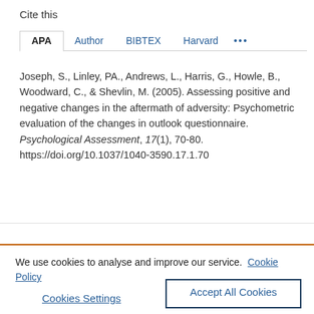Cite this
APA | Author | BIBTEX | Harvard | ...
Joseph, S., Linley, PA., Andrews, L., Harris, G., Howle, B., Woodward, C., & Shevlin, M. (2005). Assessing positive and negative changes in the aftermath of adversity: Psychometric evaluation of the changes in outlook questionnaire. Psychological Assessment, 17(1), 70-80. https://doi.org/10.1037/1040-3590.17.1.70
We use cookies to analyse and improve our service. Cookie Policy
Cookies Settings
Accept All Cookies